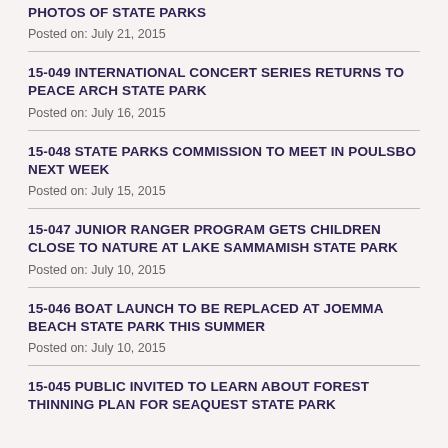PHOTOS OF STATE PARKS
Posted on: July 21, 2015
15-049 INTERNATIONAL CONCERT SERIES RETURNS TO PEACE ARCH STATE PARK
Posted on: July 16, 2015
15-048 STATE PARKS COMMISSION TO MEET IN POULSBO NEXT WEEK
Posted on: July 15, 2015
15-047 JUNIOR RANGER PROGRAM GETS CHILDREN CLOSE TO NATURE AT LAKE SAMMAMISH STATE PARK
Posted on: July 10, 2015
15-046 BOAT LAUNCH TO BE REPLACED AT JOEMMA BEACH STATE PARK THIS SUMMER
Posted on: July 10, 2015
15-045 PUBLIC INVITED TO LEARN ABOUT FOREST THINNING PLAN FOR SEAQUEST STATE PARK